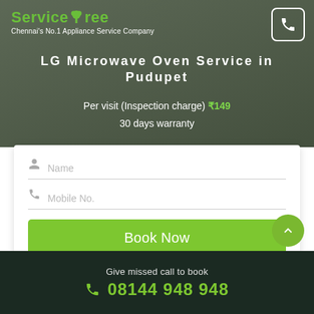[Figure (screenshot): ServiceTree logo with green tree icon and tagline: Chennai's No.1 Appliance Service Company]
LG Microwave Oven Service in Pudupet
Per visit (Inspection charge) ₹149
30 days warranty
Name (input field)
Mobile No. (input field)
Book Now
By clicking Book Now, you agree to our terms
Give missed call to book
08144 948 948